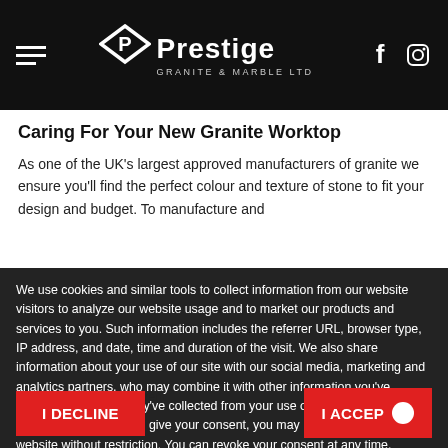Prestige Granite & Marble Ltd — navigation header with hamburger menu, logo, and social icons (Facebook, Instagram)
Caring For Your New Granite Worktop
As one of the UK's largest approved manufacturers of granite we ensure you'll find the perfect colour and texture of stone to fit your design and budget. To manufacture and
We use cookies and similar tools to collect information from our website visitors to analyze our website usage and to market our products and services to you. Such information includes the referrer URL, browser type, IP address, and date, time and duration of the visit. We also share information about your use of our site with our social media, marketing and analytics partners, who may combine it with other information you've provided to them or they've collected from your use of their services. In case you do not wish to give your consent, you may nonetheless use this website without restriction. You can revoke your consent at any time. Further information may be found here and on the privacy policy on this website.
I DECLINE
I ACCEP